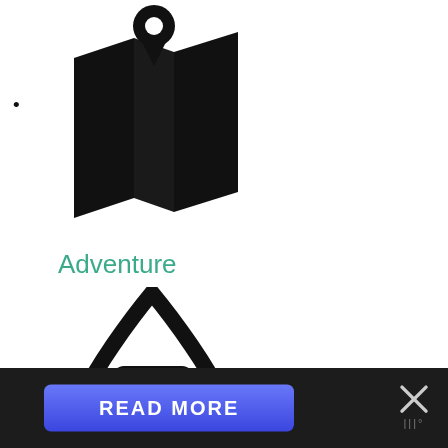[Figure (illustration): Black map icon with location pin — Adventure category icon]
Adventure
[Figure (illustration): Black water drop / ocean icon — Oceans category icon]
Oceans
[Figure (illustration): Black suitcase / travel icon — partially visible at bottom]
[Figure (screenshot): READ MORE button banner and close X button on dark bottom bar]